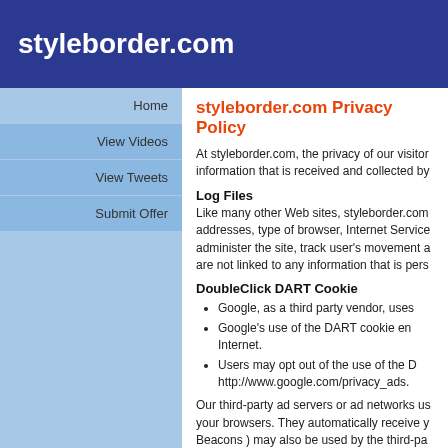styleborder.com
Home
View Videos
View Tweets
Submit Offer
styleborder.com Privacy Policy
At styleborder.com, the privacy of our visitors is information that is received and collected by
Log Files
Like many other Web sites, styleborder.com addresses, type of browser, Internet Service administer the site, track user's movement a are not linked to any information that is pers
DoubleClick DART Cookie
Google, as a third party vendor, uses
Google's use of the DART cookie en Internet.
Users may opt out of the use of the D http://www.google.com/privacy_ads.
Our third-party ad servers or ad networks us your browsers. They automatically receive y Beacons ) may also be used by the third-pa advertising content that you see.
styleborder.com has no access to or control